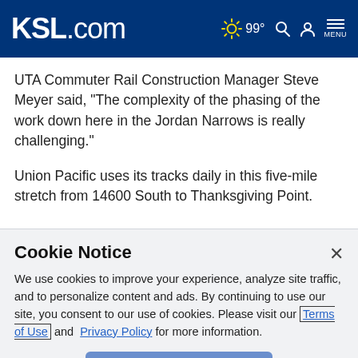KSL.com — 99° — Search — Account — MENU
UTA Commuter Rail Construction Manager Steve Meyer said, "The complexity of the phasing of the work down here in the Jordan Narrows is really challenging."
Union Pacific uses its tracks daily in this five-mile stretch from 14600 South to Thanksgiving Point.
Cookie Notice
We use cookies to improve your experience, analyze site traffic, and to personalize content and ads. By continuing to use our site, you consent to our use of cookies. Please visit our Terms of Use and Privacy Policy for more information.
Continue